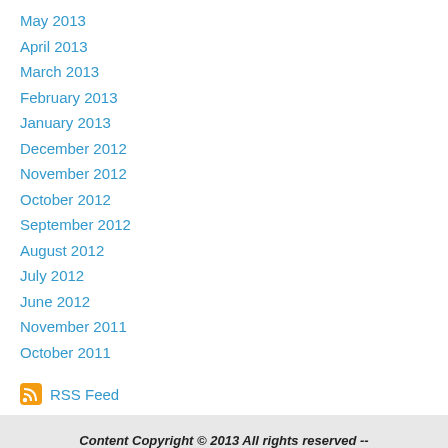May 2013
April 2013
March 2013
February 2013
January 2013
December 2012
November 2012
October 2012
September 2012
August 2012
July 2012
June 2012
November 2011
October 2011
RSS Feed
Content Copyright © 2013 All rights reserved -- kathyshealthyliving.com
Version: Mobile | Web